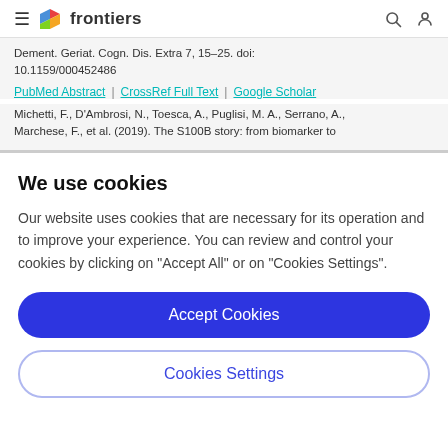frontiers
Dement. Geriat. Cogn. Dis. Extra 7, 15–25. doi: 10.1159/000452486
PubMed Abstract | CrossRef Full Text | Google Scholar
Michetti, F., D'Ambrosi, N., Toesca, A., Puglisi, M. A., Serrano, A., Marchese, F., et al. (2019). The S100B story: from biomarker to
We use cookies
Our website uses cookies that are necessary for its operation and to improve your experience. You can review and control your cookies by clicking on "Accept All" or on "Cookies Settings".
Accept Cookies
Cookies Settings